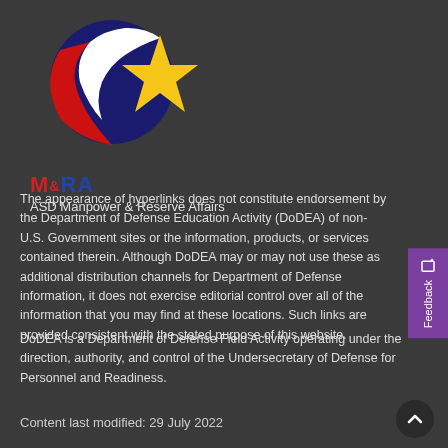[Figure (logo): ASD Manpower & Reserve Affairs logo — circular globe with star, red/white/blue colors, with M&RA text below]
The appearance of hyperlinks does not constitute endorsement by the Department of Defense Education Activity (DoDEA) of non-U.S. Government sites or the information, products, or services contained therein. Although DoDEA may or may not use these as additional distribution channels for Department of Defense information, it does not exercise editorial control over all of the information that you may find at these locations. Such links are provided consistent with the stated purpose of this website.
DoDEA is a Department of Defense Field Activity operating under the direction, authority, and control of the Undersecretary of Defense for Personnel and Readiness.
Content last modified: 29 July 2022